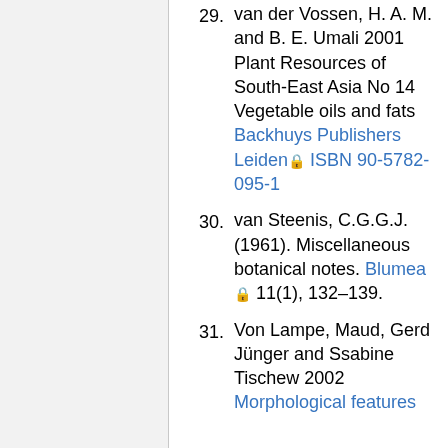29. van der Vossen, H. A. M. and B. E. Umali 2001 Plant Resources of South-East Asia No 14 Vegetable oils and fats Backhuys Publishers Leiden [lock] ISBN 90-5782-095-1
30. van Steenis, C.G.G.J. (1961). Miscellaneous botanical notes. Blumea [lock] 11(1), 132–139.
31. Von Lampe, Maud, Gerd Jünger and Ssabine Tischew 2002 Morphological features